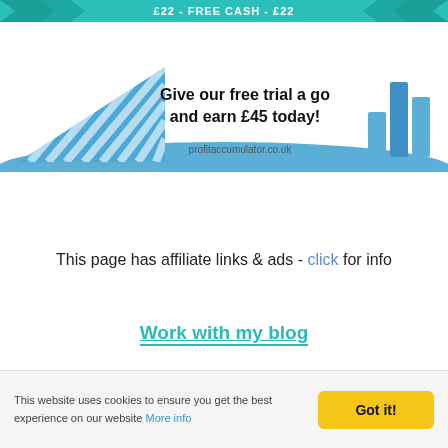[Figure (infographic): Teal top banner with FREE CASH text and arrow decorations]
[Figure (infographic): Advertisement banner for profitaccumulator.co.uk with triangles logo on left, bar chart icon on right, text: Give our free trial a go and earn £45 today!]
This page has affiliate links & ads - click for info
Work with my blog
This website uses cookies to ensure you get the best experience on our website More info